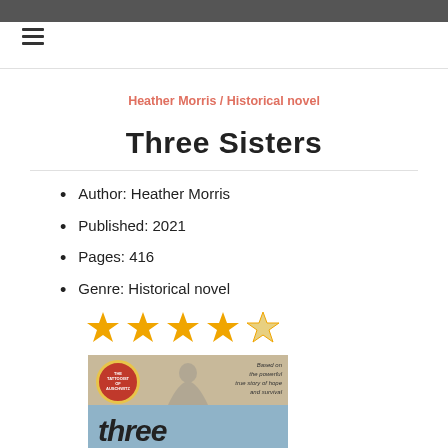Heather Morris / Historical novel
Three Sisters
Author: Heather Morris
Published: 2021
Pages: 416
Genre: Historical novel
[Figure (illustration): 4 filled gold stars and 1 empty/outline gold star representing a rating of 4 out of 5]
[Figure (photo): Book cover of Three Sisters by Heather Morris showing a silhouette figure on a beige/tan top half and blue bottom half, with a red circular badge referencing The Tattooist of Auschwitz, and the word 'three' in large italic text at the bottom. Tagline reads 'Based on the powerful true story of hope and survival'.]